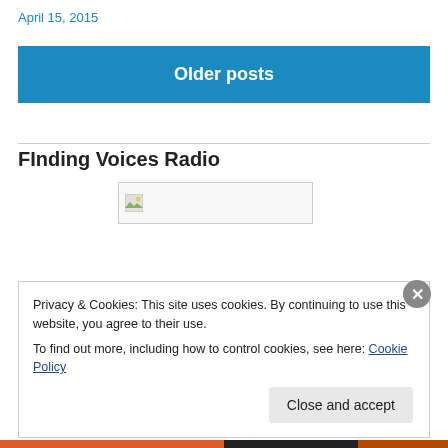April 15, 2015
Older posts
FInding Voices Radio
[Figure (other): Broken image placeholder with small image icon on left]
Privacy & Cookies: This site uses cookies. By continuing to use this website, you agree to their use.
To find out more, including how to control cookies, see here: Cookie Policy
Close and accept